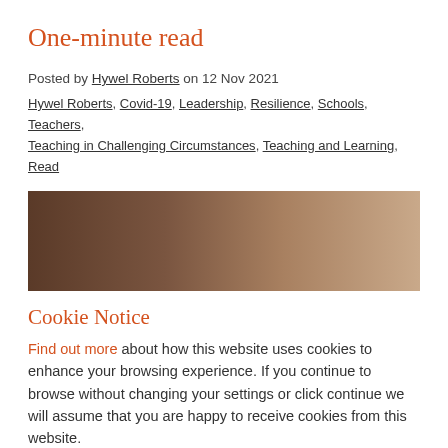One-minute read
Posted by Hywel Roberts on 12 Nov 2021
Hywel Roberts, Covid-19, Leadership, Resilience, Schools, Teachers, Teaching in Challenging Circumstances, Teaching and Learning, Read
[Figure (photo): Horizontal gradient image from dark brown/chocolate on the left fading to a warm beige/tan on the right]
Cookie Notice
Find out more about how this website uses cookies to enhance your browsing experience. If you continue to browse without changing your settings or click continue we will assume that you are happy to receive cookies from this website.
Continue